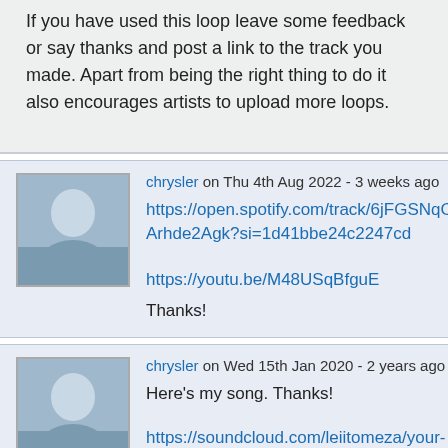If you have used this loop leave some feedback or say thanks and post a link to the track you made. Apart from being the right thing to do it also encourages artists to upload more loops.
chrysler on Thu 4th Aug 2022 - 3 weeks ago
https://open.spotify.com/track/6jFGSNqC4tFfOArhde2Agk?si=1d41bbe24c2247cd
https://youtu.be/M48USqBfguE
Thanks!
chrysler on Wed 15th Jan 2020 - 2 years ago
Here's my song. Thanks!
https://soundcloud.com/leiitomeza/your-own-